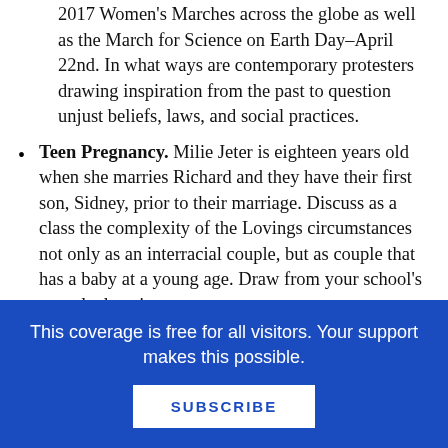2017 Women's Marches across the globe as well as the March for Science on Earth Day–April 22nd. In what ways are contemporary protesters drawing inspiration from the past to question unjust beliefs, laws, and social practices.
Teen Pregnancy. Milie Jeter is eighteen years old when she marries Richard and they have their first son,  Sidney, prior to their marriage. Discuss as a class the complexity of the Lovings circumstances not only as an interracial couple, but as couple that has a baby at a young age. Draw from your school's sexual education
This coverage is free for all visitors. Your support makes this possible.
SUBSCRIBE